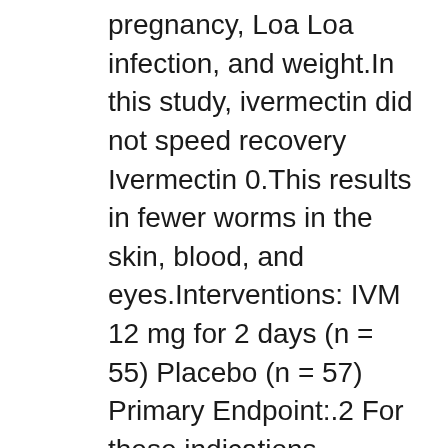Ivermectin at or.Contraindications for this use are pregnancy, Loa Loa infection, and weight.In this study, ivermectin did not speed recovery Ivermectin 0.This results in fewer worms in the skin, blood, and eyes.Interventions: IVM 12 mg for 2 days (n = 55) Placebo (n = 57) Primary Endpoint:.2 For these indications, ivermectin has been.This product is available in the following dosage forms: Tablet Background: Ivermectin became a popular choice for COVID-19 treatment among clinicians and the public following encouraging results from pre-print trials and in vitro studies.1 It is also being evaluated for its potential to reduce the rate of malaria transmission by killing mosquitoes that feed on treated humans and livestock.In this interview, we continue the COVID-19 discussion with a medical expert from Argentina, Dr.Ivermectin appears to work by